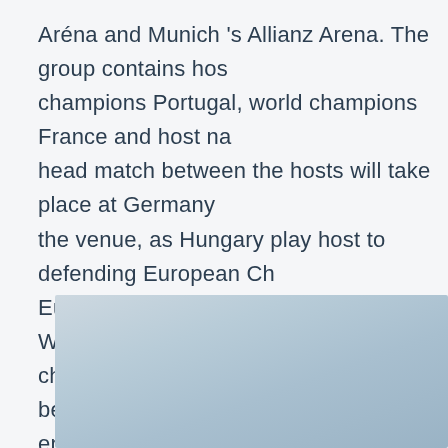Aréna and Munich 's Allianz Arena. The group contains hos champions Portugal, world champions France and host na head match between the hosts will take place at Germany the venue, as Hungary play host to defending European Ch Euro 2020 Group F opener on Tuesday. With France and G challenges in the section, Portugal will be desperate to cli encounter. Jun 08, 2021 · Germany kicks off its Euro 2020 champion France in Munich on June 15. It also plays Euro Hungary in Group F. Visit our Euro 2020 microsite for more
[Figure (photo): A partially visible image with a light blue-grey gradient background, appearing to show an outdoor or stadium scene, cropped at the right edge of the page.]